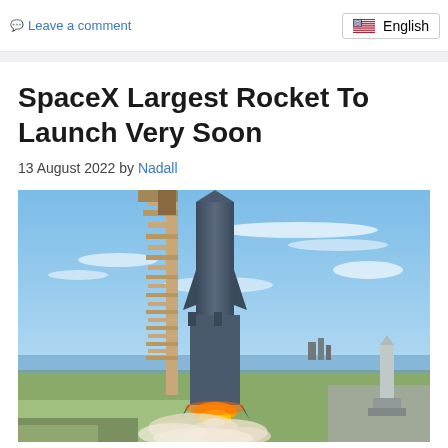Leave a comment | English
SpaceX Largest Rocket To Launch Very Soon
13 August 2022 by Nadall
[Figure (photo): SpaceX Starship rocket on launch pad with orange flame and smoke at base, against a blue sky with clouds. A launch tower structure is visible alongside the rocket, and the coastline is visible in the background.]